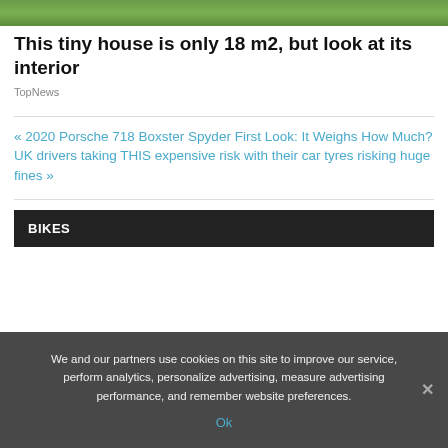[Figure (photo): Green outdoor landscape strip at top of page]
This tiny house is only 18 m2, but look at its interior
TopNews
« 2020 Porsche 718 Boxster Spyder First Look: It Weighs How Much?
UK drivers taking THIS expensive risk with their car tyres risking huge fines »
BIKES
We and our partners use cookies on this site to improve our service, perform analytics, personalize advertising, measure advertising performance, and remember website preferences.
Ok